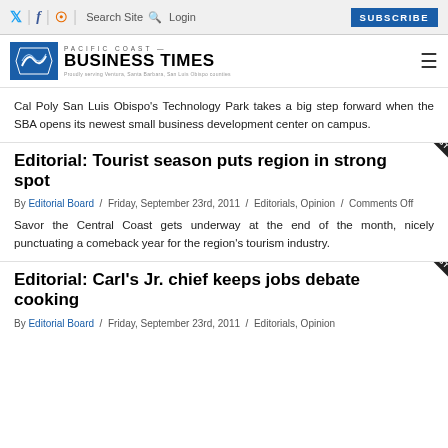Twitter / Facebook / RSS | Search Site  Q  Login  SUBSCRIBE
[Figure (logo): Pacific Coast Business Times logo with blue shield emblem]
Cal Poly San Luis Obispo's Technology Park takes a big step forward when the SBA opens its newest small business development center on campus.
Editorial: Tourist season puts region in strong spot
By Editorial Board / Friday, September 23rd, 2011 / Editorials, Opinion / Comments Off
Savor the Central Coast gets underway at the end of the month, nicely punctuating a comeback year for the region's tourism industry.
Editorial: Carl's Jr. chief keeps jobs debate cooking
By Editorial Board / Friday, September 23rd, 2011 / Editorials, Opinion